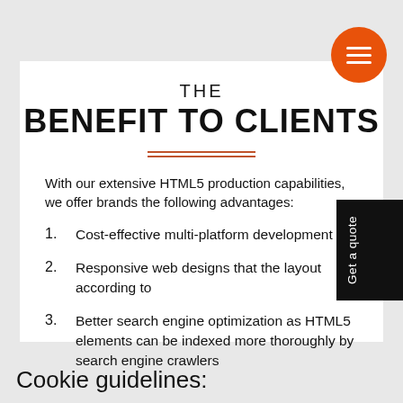THE BENEFIT TO CLIENTS
With our extensive HTML5 production capabilities, we offer brands the following advantages:
Cost-effective multi-platform development
Responsive web designs that the layout according to
Better search engine optimization as HTML5 elements can be indexed more thoroughly by search engine crawlers
Cookie guidelines: